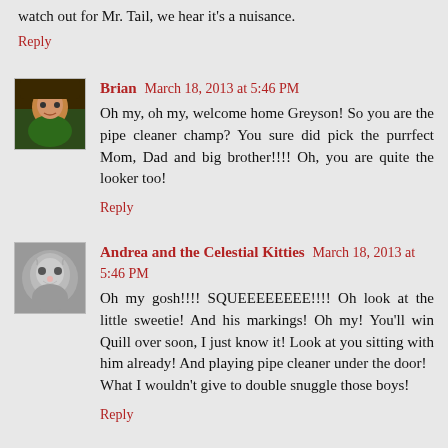watch out for Mr. Tail, we hear it's a nuisance.
Reply
[Figure (photo): Avatar photo of Brian, a man in a green shirt]
Brian March 18, 2013 at 5:46 PM
Oh my, oh my, welcome home Greyson! So you are the pipe cleaner champ? You sure did pick the purrfect Mom, Dad and big brother!!!! Oh, you are quite the looker too!
Reply
[Figure (photo): Avatar photo of Andrea and the Celestial Kitties, a grey cat]
Andrea and the Celestial Kitties March 18, 2013 at 5:46 PM
Oh my gosh!!!! SQUEEEEEEEE!!!! Oh look at the little sweetie! And his markings! Oh my! You'll win Quill over soon, I just know it! Look at you sitting with him already! And playing pipe cleaner under the door!
What I wouldn't give to double snuggle those boys!
Reply